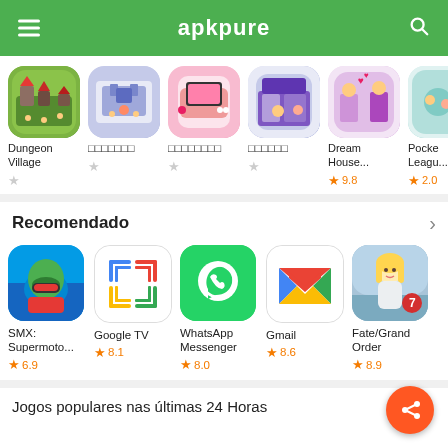apkpure
[Figure (screenshot): Row of app icons: Dungeon Village, and 4 Japanese-named apps, Dream House..., Pocket Leagu...]
Dungeon Village
□□□□□□□
□□□□□□□□
□□□□□□
Dream House...
Pocke Leagu...
★ 9.8
★ 2.0
Recomendado
[Figure (screenshot): Row of recommended app icons: SMX: Supermoto..., Google TV, WhatsApp Messenger, Gmail, Fate/Grand Order]
SMX: Supermoto...
★ 6.9
Google TV
★ 8.1
WhatsApp Messenger
★ 8.0
Gmail
★ 8.6
Fate/Grand Order
★ 8.9
Jogos populares nas últimas 24 Horas